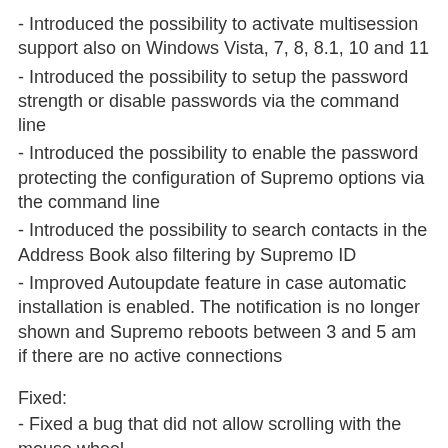- Introduced the possibility to activate multisession support also on Windows Vista, 7, 8, 8.1, 10 and 11
- Introduced the possibility to setup the password strength or disable passwords via the command line
- Introduced the possibility to enable the password protecting the configuration of Supremo options via the command line
- Introduced the possibility to search contacts in the Address Book also filtering by Supremo ID
- Improved Autoupdate feature in case automatic installation is enabled. The notification is no longer shown and Supremo reboots between 3 and 5 am if there are no active connections
Fixed:
- Fixed a bug that did not allow scrolling with the mouse wheel
- Fixed a possible crash when using the 'Run Supremo as' feature